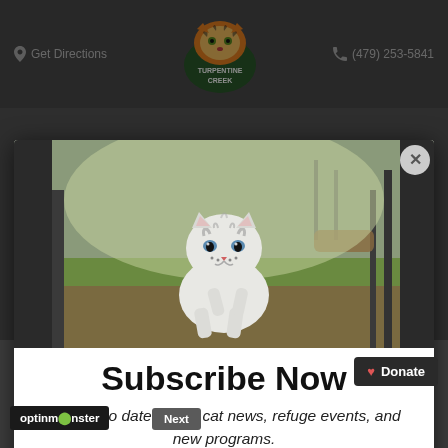Get Directions | TURPENTINE CREEK | (479) 253-5841
[Figure (photo): White tiger cub running on grass toward camera, outdoor enclosure with fence visible]
Subscribe Now
Stay up to date on big cat news, refuge events, and new programs.
Loading....
receive. Chuff is slated to receive b... Next to Payson's ... green 10. That means that Payson will be receiving
Donate
optinmonster Next